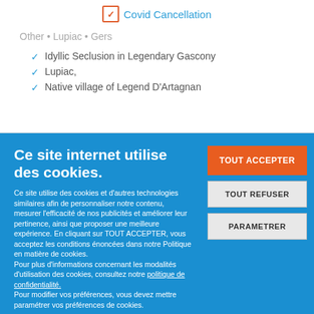[Figure (other): Covid Cancellation checkbox icon with orange checkmark]
Covid Cancellation
Other • Lupiac • Gers
Idyllic Seclusion in Legendary Gascony
Lupiac,
Native village of Legend D'Artagnan
Ce site internet utilise des cookies.
Ce site utilise des cookies et d'autres technologies similaires afin de personnaliser notre contenu, mesurer l'efficacité de nos publicités et améliorer leur pertinence, ainsi que proposer une meilleure expérience. En cliquant sur TOUT ACCEPTER, vous acceptez les conditions énoncées dans notre Politique en matière de cookies.
Pour plus d'informations concernant les modalités d'utilisation des cookies, consultez notre politique de confidentialité.
Pour modifier vos préférences, vous devez mettre paramétrer vos préférences de cookies.